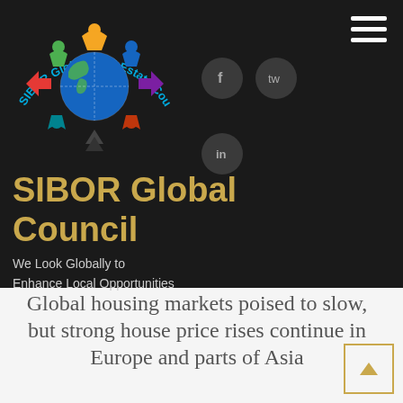[Figure (logo): SIBOR Global Real Estate Council logo with colorful human figures around a globe, circular text reading 'SIBOR Global Real Estate Council']
SIBOR Global Council
We Look Globally to Enhance Local Opportunities
Global housing markets poised to slow, but strong house price rises continue in Europe and parts of Asia